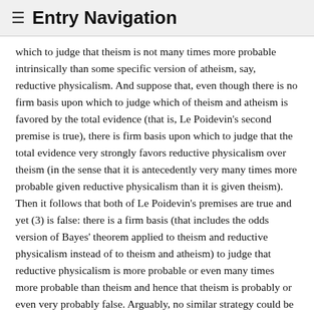≡ Entry Navigation
which to judge that theism is not many times more probable intrinsically than some specific version of atheism, say, reductive physicalism. And suppose that, even though there is no firm basis upon which to judge which of theism and atheism is favored by the total evidence (that is, Le Poidevin's second premise is true), there is firm basis upon which to judge that the total evidence very strongly favors reductive physicalism over theism (in the sense that it is antecedently very many times more probable given reductive physicalism than it is given theism). Then it follows that both of Le Poidevin's premises are true and yet (3) is false: there is a firm basis (that includes the odds version of Bayes' theorem applied to theism and reductive physicalism instead of to theism and atheism) to judge that reductive physicalism is more probable or even many times more probable than theism and hence that theism is probably or even very probably false. Arguably, no similar strategy could be used to show that theism is probably true in spite of Le Poidevin's premises both being true. So it may be that Le Poidevin's